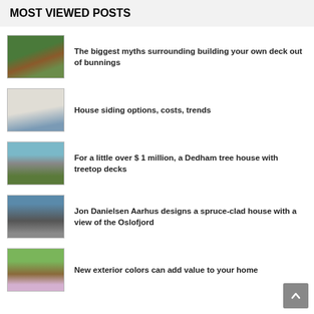MOST VIEWED POSTS
The biggest myths surrounding building your own deck out of bunnings
House siding options, costs, trends
For a little over $ 1 million, a Dedham tree house with treetop decks
Jon Danielsen Aarhus designs a spruce-clad house with a view of the Oslofjord
New exterior colors can add value to your home